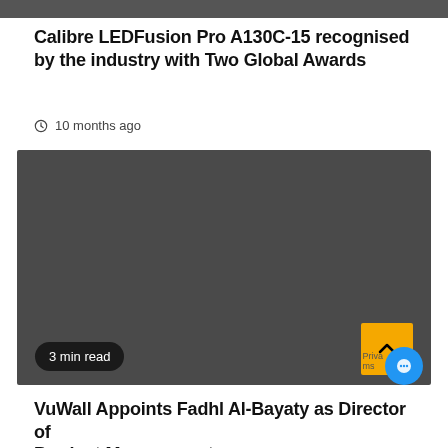[Figure (photo): Dark gray banner image at the top of the page]
Calibre LEDFusion Pro A130C-15 recognised by the industry with Two Global Awards
10 months ago
[Figure (photo): Large dark gray placeholder image for the second article with a '3 min read' badge and a yellow scroll-up button]
VuWall Appoints Fadhl Al-Bayaty as Director of Product Management